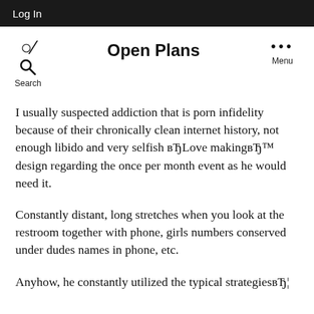Log In
Open Plans
I usually suspected addiction that is porn infidelity because of their chronically clean internet history, not enough libido and very selfish вЂLove makingвЂ™ design regarding the once per month event as he would need it.
Constantly distant, long stretches when you look at the restroom together with phone, girls numbers conserved under dudes names in phone, etc.
Anyhow, he constantly utilized the typical strategiesвЂ¦